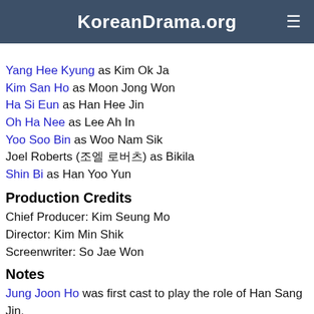KoreanDrama.org
(partial text cut off at top)
Yang Hee Kyung as Kim Ok Ja
Kim San Ho as Moon Jong Won
Ha Si Eun as Han Hee Jin
Oh Ha Nee as Lee Ah In
Yoo Soo Bin as Woo Nam Sik
Joel Roberts (조엘 로버츠) as Bikila
Shin Bi as Han Yoo Yun
Production Credits
Chief Producer: Kim Seung Mo
Director: Kim Min Shik
Screenwriter: So Jae Won
Notes
Jung Joon Ho was first cast to play the role of Han Sang Jin, but he had to bow out due to a scheduling conflict.